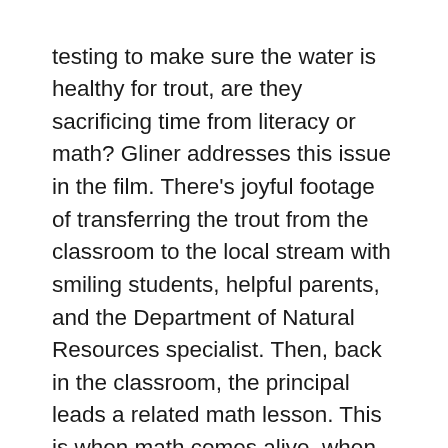testing to make sure the water is healthy for trout, are they sacrificing time from literacy or math? Gliner addresses this issue in the film. There's joyful footage of transferring the trout from the classroom to the local stream with smiling students, helpful parents, and the Department of Natural Resources specialist. Then, back in the classroom, the principal leads a related math lesson. This is when math comes alive, when it's directly related to real-world experiences. In 2010, Crellin was rated the highest performing elementary school in Maryland.
The complete review of Schools that Change